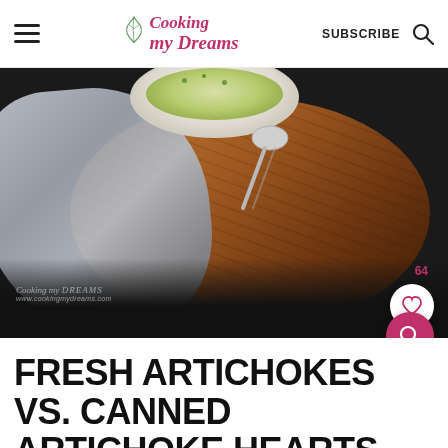Cooking my Dreams — SUBSCRIBE
[Figure (photo): Top-down food photography showing a bowl of artichoke dip on a wooden cutting board with a silver spoon, draped with a gray linen cloth on a dark background. Watermark reads 'Cooking my DREAMS www.cookingmydreams.com'. Heart button showing 64 likes.]
FRESH ARTICHOKES VS. CANNED ARTICHOKE HEARTS